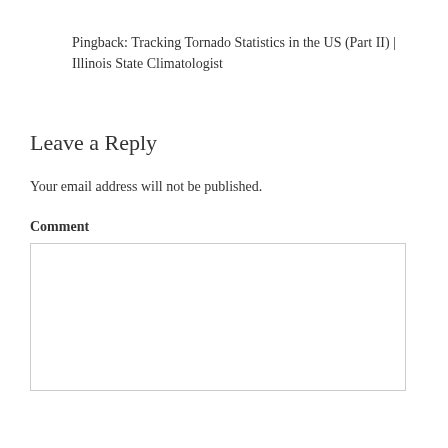Pingback: Tracking Tornado Statistics in the US (Part II) | Illinois State Climatologist
Leave a Reply
Your email address will not be published.
Comment